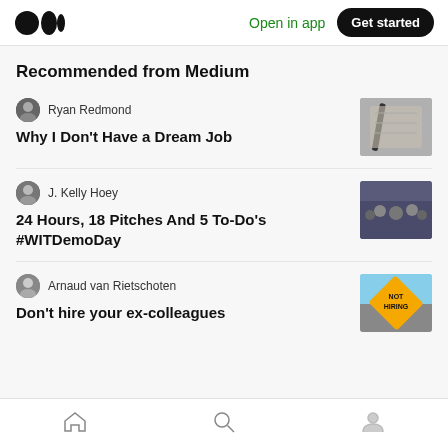Medium logo | Open in app | Get started
Recommended from Medium
Ryan Redmond
Why I Don't Have a Dream Job
[Figure (photo): Thumbnail image of a pen on a notebook]
J. Kelly Hoey
24 Hours, 18 Pitches And 5 To-Do's #WITDemoDay
[Figure (photo): Thumbnail image of a group of people at a demo day event]
Arnaud van Rietschoten
Don't hire your ex-colleagues
[Figure (photo): Thumbnail image of a yellow 'NOT HIRING' road sign]
Home | Search | Profile navigation icons